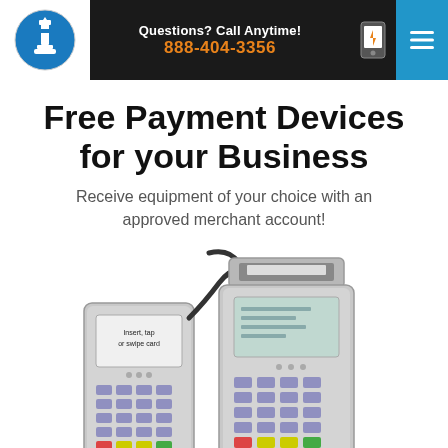[Figure (logo): Lighthouse logo - circular icon with lighthouse silhouette in blue and white]
Questions? Call Anytime! 888-404-3356
Free Payment Devices for your Business
Receive equipment of your choice with an approved merchant account!
[Figure (photo): Two payment terminal devices: a PIN pad/card reader on the left with screen reading 'Insert, tap or swipe card', and a full credit card terminal with receipt printer on the right, connected by a curly cable]